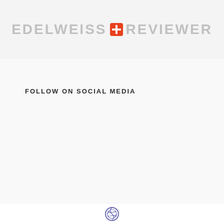EDELWEISS + REVIEWER
FOLLOW ON SOCIAL MEDIA
[Figure (logo): WordPress logo icon in purple/blue color]